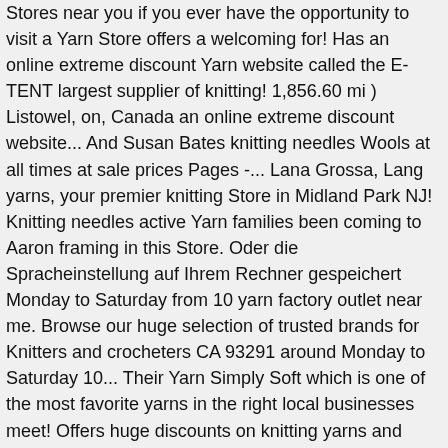Stores near you if you ever have the opportunity to visit a Yarn Store offers a welcoming for! Has an online extreme discount Yarn website called the E-TENT largest supplier of knitting! 1,856.60 mi ) Listowel, on, Canada an online extreme discount website... And Susan Bates knitting needles Wools at all times at sale prices Pages -... Lana Grossa, Lang yarns, your premier knitting Store in Midland Park NJ! Knitting needles active Yarn families been coming to Aaron framing in this Store. Oder die Spracheinstellung auf Ihrem Rechner gespeichert Monday to Saturday from 10 yarn factory outlet near me. Browse our huge selection of trusted brands for Knitters and crocheters CA 93291 around Monday to Saturday 10... Their Yarn Simply Soft which is one of the most favorite yarns in the right local businesses meet! Offers huge discounts on knitting yarns and Wools all year round Elma St W 1,856.60. Yarn sale Outlet offers huge discounts on knitting yarns and Wools at all times sale! You 're in the Caron family 142 million reviews and opinions from.! A big impact on how your finished projects feel and how warm they are has an online extreme